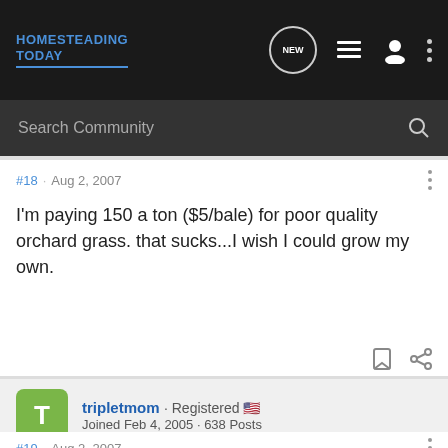HOMESTEADING TODAY
Search Community
#18 · Aug 2, 2007
I'm paying 150 a ton ($5/bale) for poor quality orchard grass. that sucks...I wish I could grow my own.
tripletmom · Registered
Joined Feb 4, 2005 · 638 Posts
#19 · Aug 2, 2007